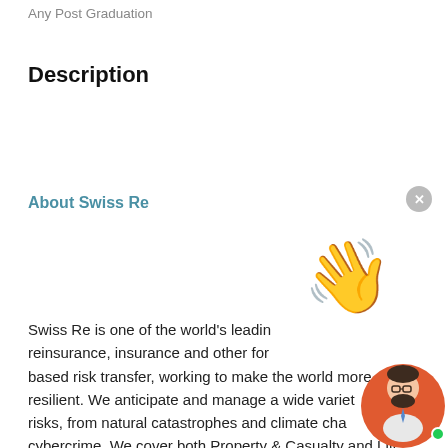Any Post Graduation
Description
About Swiss Re
Swiss Re is one of the world's leading reinsurance, insurance and other forms of risk-based risk transfer, working to make the world more resilient. We anticipate and manage a wide variety of risks, from natural catastrophes and climate change to cybercrime. We cover both Property & Casualty and Life
[Figure (illustration): Waving hand emoji in yellow color]
[Figure (illustration): Cartoon avatar of a bearded man with glasses on an orange circular background with a green online indicator dot]